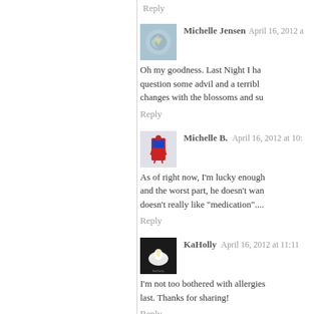Reply
Michelle Jensen  April 16, 2012 a…
Oh my goodness. Last Night I ha… question some advil and a terribl… changes with the blossoms and su…
Reply
Michelle B.  April 16, 2012 at 10:…
As of right now, I'm lucky enough… and the worst part, he doesn't wan… doesn't really like "medication"....
Reply
KaHolly  April 16, 2012 at 11:11
I'm not too bothered with allergies… last. Thanks for sharing!
Reply